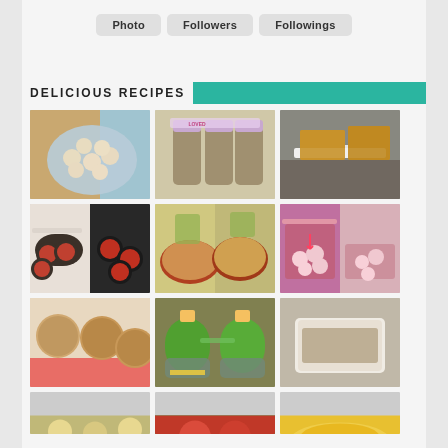Photo | Followers | Followings
DELICIOUS RECIPES
[Figure (photo): Grid of food recipe photos including coconut balls, mason jar gifts, baked bars, eggplant pizzas, pan-fried discs, soups, peppermint candy, muffins, green smoothies, grain dish, and more.]